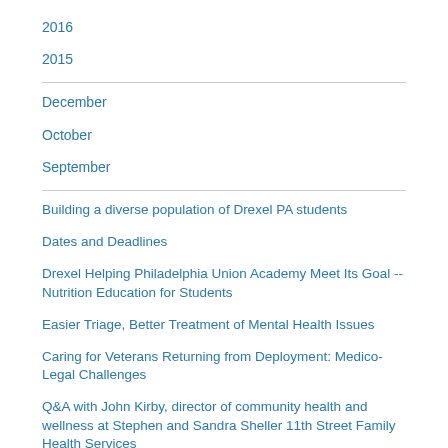2016
2015
December
October
September
Building a diverse population of Drexel PA students
Dates and Deadlines
Drexel Helping Philadelphia Union Academy Meet Its Goal -- Nutrition Education for Students
Easier Triage, Better Treatment of Mental Health Issues
Caring for Veterans Returning from Deployment: Medico-Legal Challenges
Q&A with John Kirby, director of community health and wellness at Stephen and Sandra Sheller 11th Street Family Health Services
Where Are They Now?